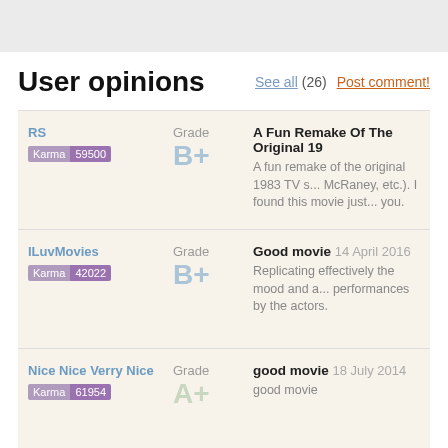User opinions
See all (26)   Post comment!
RS | Karma 59500 | Grade B+ | A Fun Remake Of The Original 19... | A fun remake of the original 1983 TV s... McRaney, etc.). I found this movie just... you.
ILuvMovies | Karma 42022 | Grade B+ | Good movie 14 April 2016 | Replicating effectively the mood and a... performances by the actors.
Nice Nice Verry Nice | Karma 61954 | Grade A+ | good movie 18 July 2014 | good movie